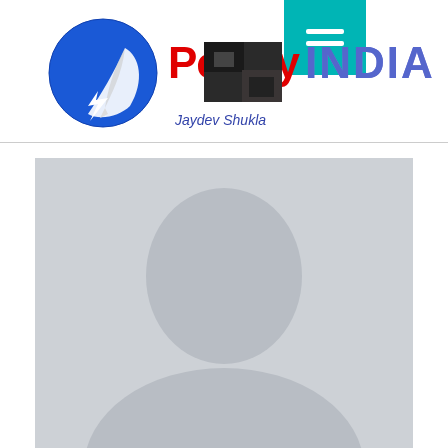Poetry INDIA - Jaydev Shukla
[Figure (logo): Poetry India website logo with blue circle containing a quill pen, red 'Poetry' text and blue gradient 'INDIA' text]
Jaydev Shukla
[Figure (photo): Default user profile avatar placeholder - grey silhouette of a person on light grey background]